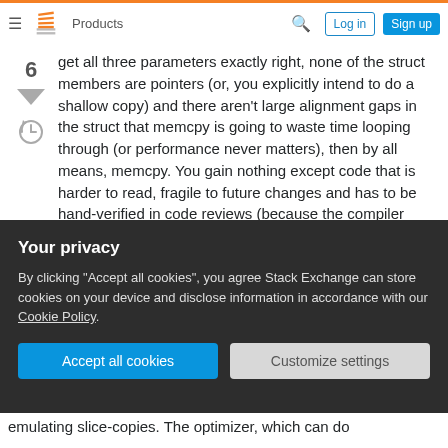≡ [Stack Overflow logo] Products 🔍 Log in Sign up
get all three parameters exactly right, none of the struct members are pointers (or, you explicitly intend to do a shallow copy) and there aren't large alignment gaps in the struct that memcpy is going to waste time looping through (or performance never matters), then by all means, memcpy. You gain nothing except code that is harder to read, fragile to future changes and has to be hand-verified in code reviews (because the compiler can't), but hey yeah sure why not.
In C++, we advance to the ludicrously right: You
Your privacy
By clicking "Accept all cookies", you agree Stack Exchange can store cookies on your device and disclose information in accordance with our Cookie Policy.
Accept all cookies   Customize settings
emulating slice-copies. The optimizer, which can do